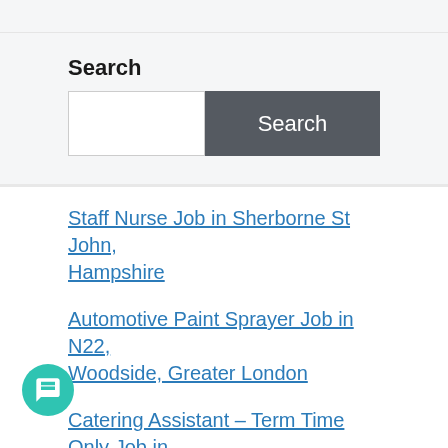Search
Search [input field with button]
Staff Nurse Job in Sherborne St John, Hampshire
Automotive Paint Sprayer Job in N22, Woodside, Greater London
Catering Assistant – Term Time Only Job in RM9, Goresbrook, Greater London
Amazon Fulfillment Associate Job in Fareham
QSW – Team Manager – Assessments Team